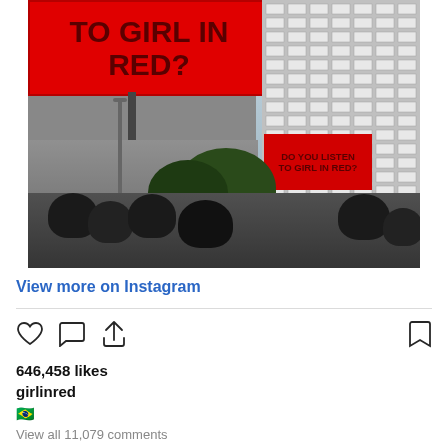[Figure (photo): Urban street scene with two large red LED billboards displaying 'TO GIRL IN RED?' text in dark red lettering. Left side shows partial red 'CC' letters. Background shows multi-story office building with grid windows. Crowd of people visible at bottom, trees in mid-ground, street lamps visible.]
View more on Instagram
646,458 likes
girlinred
🇧🇷